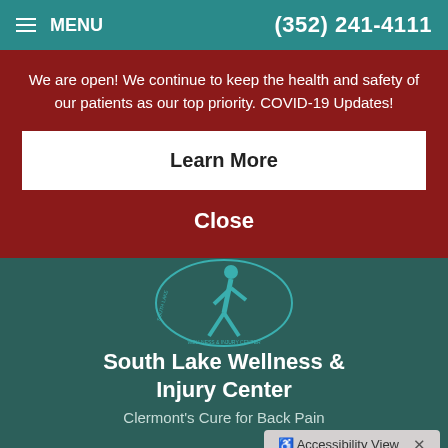MENU  (352) 241-4111
We are open! We continue to keep the health and safety of our patients as our top priority. COVID-19 Updates!
Learn More
Close
[Figure (logo): South Lake Wellness & Injury Center circular logo with teal figure on dark teal background]
South Lake Wellness & Injury Center
Clermont's Cure for Back Pain
Accessibility View